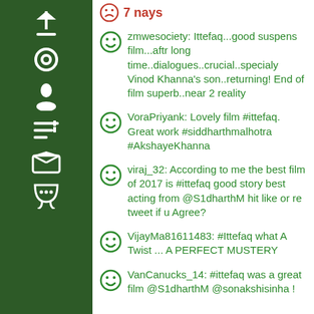7 nays
zmwesociety: Ittefaq...good suspens film...aftr long time..dialogues..crucial..specialy Vinod Khanna's son..returning! End of film superb..near 2 reality
VoraPriyank: Lovely film #ittefaq. Great work #siddharthmalhotra #AkshayeKhanna
viraj_32: According to me the best film of 2017 is #ittefaq good story best acting from @S1dharthM hit like or re tweet if u Agree?
VijayMa81611483: #Ittefaq what A Twist ... A PERFECT MUSTERY
VanCanucks_14: #ittefaq was a great film @S1dharthM @sonakshisinha !